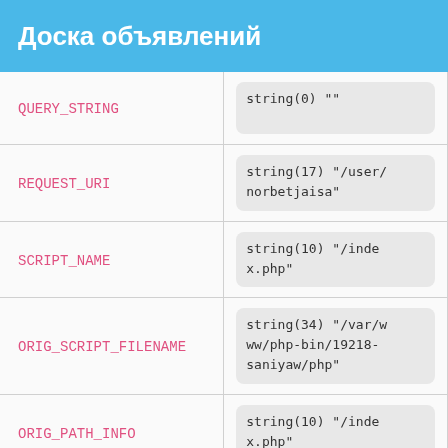Доска объявлений
| Key | Value |
| --- | --- |
| QUERY_STRING | string(0) "" |
| REQUEST_URI | string(17) "/user/norbetjaisa" |
| SCRIPT_NAME | string(10) "/index.php" |
| ORIG_SCRIPT_FILENAME | string(34) "/var/www/php-bin/19218-saniyaw/php" |
| ORIG_PATH_INFO | string(10) "/index.php" |